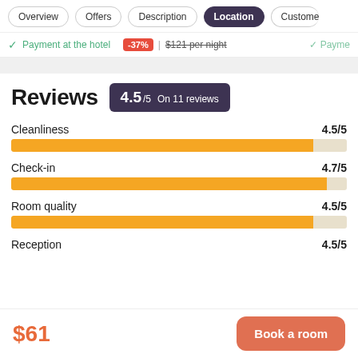Overview | Offers | Description | Location | Customer
Payment at the hotel  -37% | $121 per night  Payment
Reviews
4.5/5 On 11 reviews
[Figure (bar-chart): Reviews ratings]
$61
Book a room